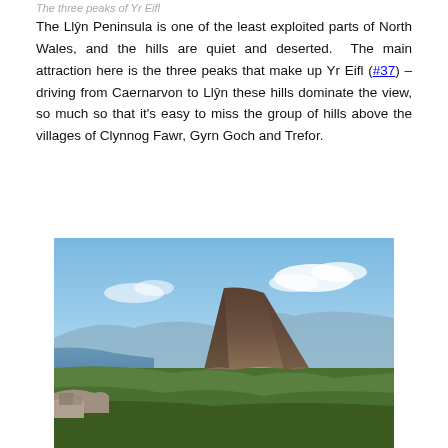The three peaks of Yr Eifl
The Llŷn Peninsula is one of the least exploited parts of North Wales, and the hills are quiet and deserted. The main attraction here is the three peaks that make up Yr Eifl (#37) – driving from Caernarvon to Llŷn these hills dominate the view, so much so that it's easy to miss the group of hills above the villages of Clynnog Fawr, Gyrn Goch and Trefor.
[Figure (photo): Photograph of a mountain peak (one of the three peaks of Yr Eifl) viewed from another summit, with a coastal landscape and blue sky with clouds visible in the background.]